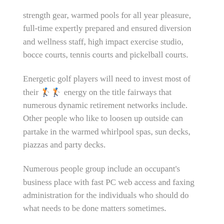strength gear, warmed pools for all year pleasure, full-time expertly prepared and ensured diversion and wellness staff, high impact exercise studio, bocce courts, tennis courts and pickelball courts.
Energetic golf players will need to invest most of their [emoji] energy on the title fairways that numerous dynamic retirement networks include. Other people who like to loosen up outside can partake in the warmed whirlpool spas, sun decks, piazzas and party decks.
Numerous people group include an occupant's business place with fast PC web access and faxing administration for the individuals who should do what needs to be done matters sometimes.
Make Friends At Active Retirement Communities